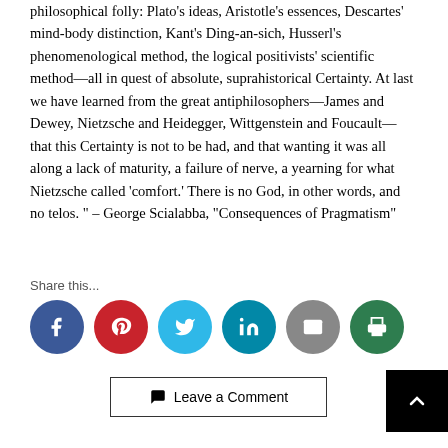philosophical folly: Plato's ideas, Aristotle's essences, Descartes' mind-body distinction, Kant's Ding-an-sich, Husserl's phenomenological method, the logical positivists' scientific method—all in quest of absolute, suprahistorical Certainty. At last we have learned from the great antiphilosophers—James and Dewey, Nietzsche and Heidegger, Wittgenstein and Foucault—that this Certainty is not to be had, and that wanting it was all along a lack of maturity, a failure of nerve, a yearning for what Nietzsche called 'comfort.' There is no God, in other words, and no telos. " – George Scialabba, "Consequences of Pragmatism"
Share this...
[Figure (infographic): Six social sharing icon buttons in circular shapes: Facebook (dark blue), Pinterest (red), Twitter (light blue), LinkedIn (teal), Email (gray), Print (dark green)]
[Figure (other): Leave a Comment button with speech bubble icon]
[Figure (other): Back to top button with upward arrow on black background]